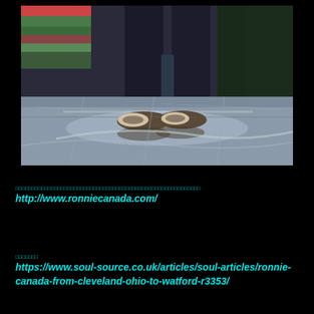[Figure (photo): Photo showing the lower legs and feet of a person wearing dark navy/black trousers and patterned sneakers, standing on a shiny marble-like floor. Background shows colorful fabric/textiles on the left and a dark wall/curtain on the right.]
□□□□□□□□□□□□□□□□□□□□□□□□□□□□□□□□□□□□□□□□□□□□□□□□□□□□
http://www.ronniecanada.com/
□□□□□□□
https://www.soul-source.co.uk/articles/soul-articles/ronnie-canada-from-cleveland-ohio-to-watford-r3353/